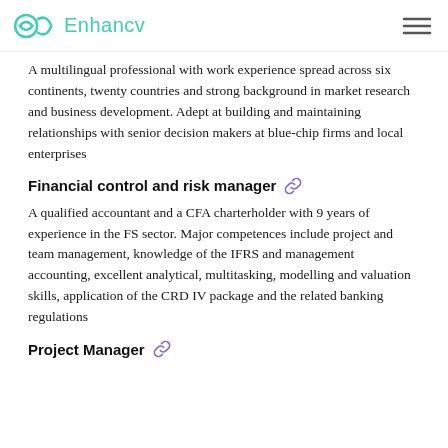Enhancv
A multilingual professional with work experience spread across six continents, twenty countries and strong background in market research and business development. Adept at building and maintaining relationships with senior decision makers at blue-chip firms and local enterprises
Financial control and risk manager
A qualified accountant and a CFA charterholder with 9 years of experience in the FS sector. Major competences include project and team management, knowledge of the IFRS and management accounting, excellent analytical, multitasking, modelling and valuation skills, application of the CRD IV package and the related banking regulations
Project Manager